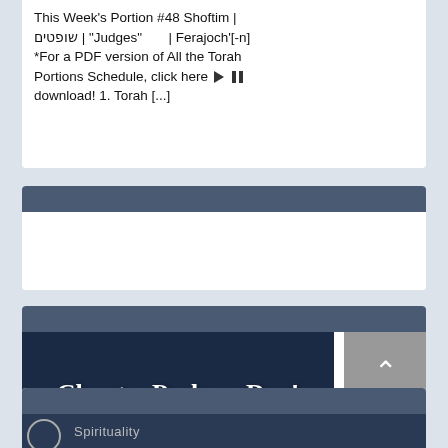This Week's Portion #48 Shoftim | שופטים | "Judges" | Ferajoch'[-n] *For a PDF version of All the Torah Portions Schedule, click here ▶ ⏸ download! 1. Torah [...]
[Figure (illustration): Dark blue banner image with bold white serif text reading 'Chant a Psalm a Day! Daily Psalm Readings Schedule' with a starry/cosmic background effect]
[Figure (screenshot): Partial view of a card with dark blue header bar and a dark banner showing 'Spirituality' text with a circular logo on the left]